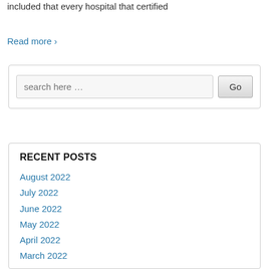included that every hospital that certified
Read more ›
[Figure (other): Search box widget with text input field placeholder 'search here …' and a 'Go' button]
RECENT POSTS
August 2022
July 2022
June 2022
May 2022
April 2022
March 2022
February 2022
January 2022
December 2021